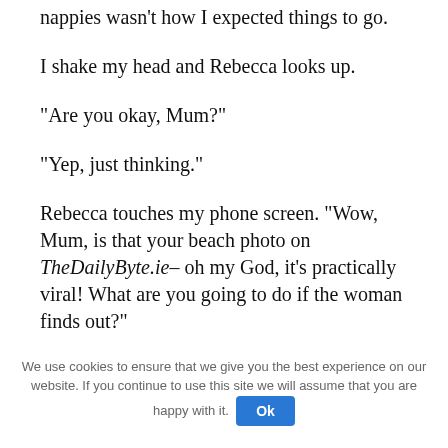nappies wasn't how I expected things to go.
I shake my head and Rebecca looks up.
“Are you okay, Mum?”
“Yep, just thinking.”
Rebecca touches my phone screen. “Wow, Mum, is that your beach photo on TheDailyByte.ie– oh my God, it’s practically viral! What are you going to do if the woman finds out?”
We use cookies to ensure that we give you the best experience on our website. If you continue to use this site we will assume that you are happy with it.